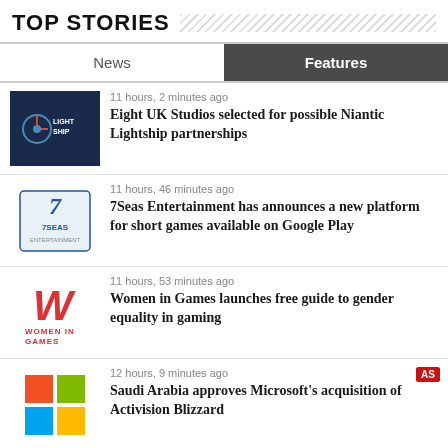TOP STORIES
News | Features
11 hours, 2 minutes ago — Eight UK Studios selected for possible Niantic Lightship partnerships
11 hours, 46 minutes ago — 7Seas Entertainment has announces a new platform for short games available on Google Play
11 hours, 53 minutes ago — Women in Games launches free guide to gender equality in gaming
12 hours, 9 minutes ago — Saudi Arabia approves Microsoft's acquisition of Activision Blizzard
Aug 22nd, 2022 — Reko Ukko joining Next Games as Chief Creative Officer
See more News »